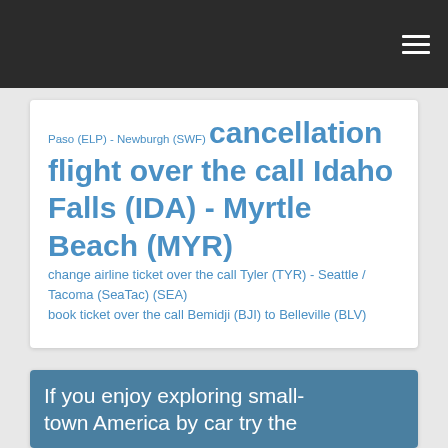Paso (ELP) - Newburgh (SWF) cancellation flight over the call Idaho Falls (IDA) - Myrtle Beach (MYR) change airline ticket over the call Tyler (TYR) - Seattle / Tacoma (SeaTac) (SEA) book ticket over the call Bemidji (BJI) to Belleville (BLV)
If you enjoy exploring small-town America by car try the